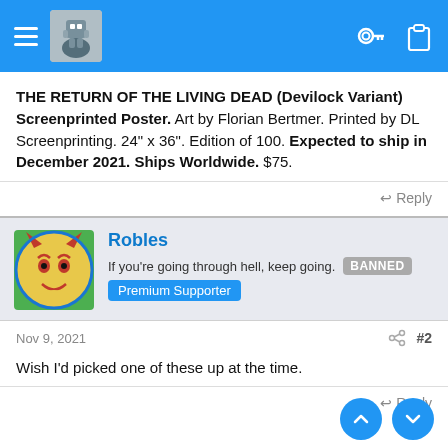App header bar with menu, logo, key icon, clipboard icon
THE RETURN OF THE LIVING DEAD (Devilock Variant) Screenprinted Poster. Art by Florian Bertmer. Printed by DL Screenprinting. 24" x 36". Edition of 100. Expected to ship in December 2021. Ships Worldwide. $75.
↩ Reply
Robles
If you're going through hell, keep going. BANNED
Premium Supporter
Nov 9, 2021  #2
Wish I'd picked one of these up at the time.
↩ Reply